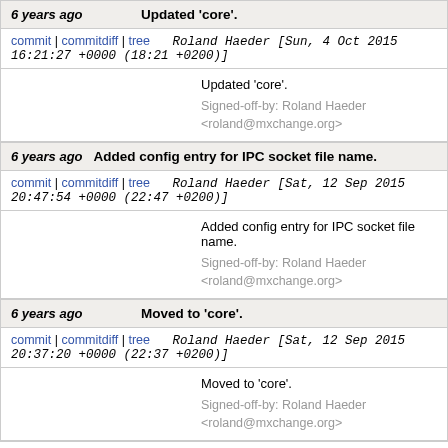6 years ago | Updated 'core'.
commit | commitdiff | tree   Roland Haeder [Sun, 4 Oct 2015 16:21:27 +0000 (18:21 +0200)]
Updated 'core'.
Signed-off-by: Roland Haeder <roland@mxchange.org>
6 years ago | Added config entry for IPC socket file name.
commit | commitdiff | tree   Roland Haeder [Sat, 12 Sep 2015 20:47:54 +0000 (22:47 +0200)]
Added config entry for IPC socket file name.
Signed-off-by: Roland Haeder <roland@mxchange.org>
6 years ago | Moved to 'core'.
commit | commitdiff | tree   Roland Haeder [Sat, 12 Sep 2015 20:37:20 +0000 (22:37 +0200)]
Moved to 'core'.
Signed-off-by: Roland Haeder <roland@mxchange.org>